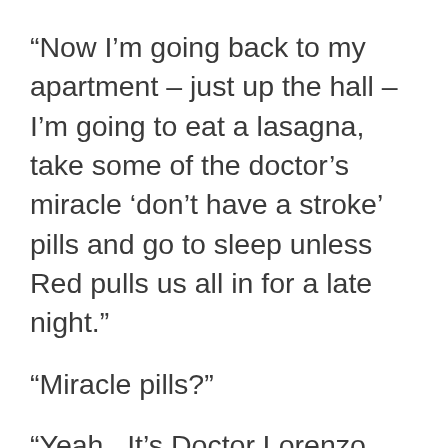“Now I’m going back to my apartment – just up the hall – I’m going to eat a lasagna, take some of the doctor’s miracle ‘don’t have a stroke’ pills and go to sleep unless Red pulls us all in for a late night.”
“Miracle pills?”
“Yeah.  It’s Doctor Lorenzo, the mad scientist?  Remember him?”